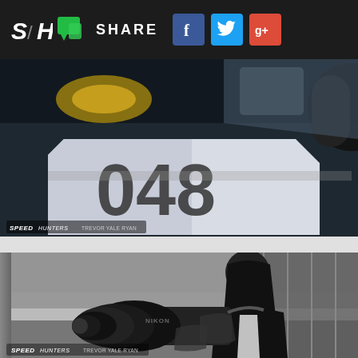[Figure (screenshot): Navigation bar with SpeedHunters logo (SH), green chat icon, SHARE label, Facebook, Twitter, and Google+ social icons on dark background]
[Figure (photo): Color photograph showing close-up of person wearing racing uniform with number 048, with microphone visible, taken at a racing event. SpeedHunters / Trevor Yale Ryan watermark at bottom left.]
[Figure (photo): Black and white photograph of a woman with long dark hair photographing with a large Nikon telephoto lens camera at what appears to be a racing event with grandstands behind her. SpeedHunters / Trevor Yale Ryan watermark at bottom left.]